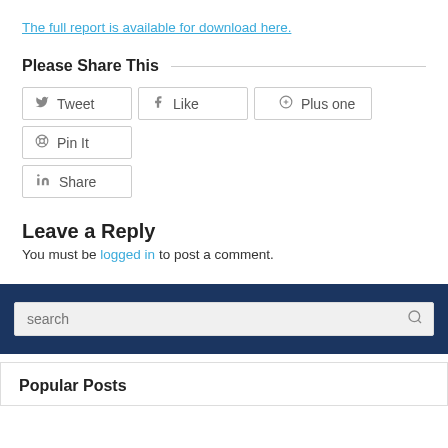The full report is available for download here.
Please Share This
Tweet  Like  Plus one  Pin It  Share
Leave a Reply
You must be logged in to post a comment.
search
Popular Posts